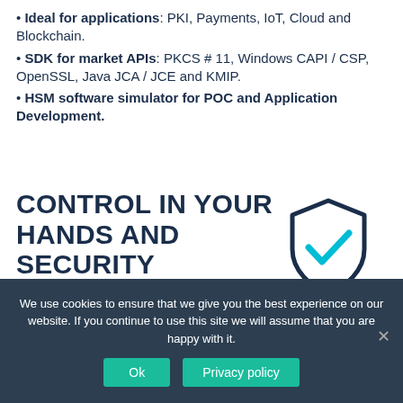Ideal for applications: PKI, Payments, IoT, Cloud and Blockchain.
SDK for market APIs: PKCS # 11, Windows CAPI / CSP, OpenSSL, Java JCA / JCE and KMIP.
HSM software simulator for POC and Application Development.
CONTROL IN YOUR HANDS AND SECURITY ON US
[Figure (illustration): Shield icon with a checkmark inside, drawn in dark blue outline with a teal/cyan checkmark, representing security.]
We use cookies to ensure that we give you the best experience on our website. If you continue to use this site we will assume that you are happy with it.
Ok   Privacy policy